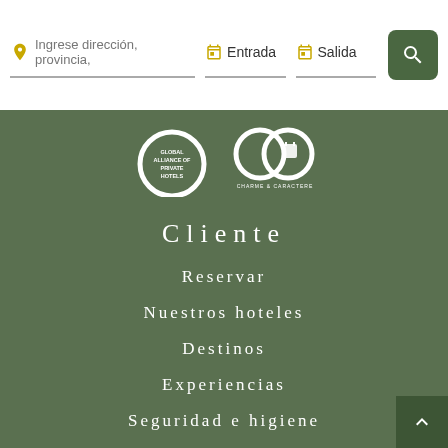Ingrese dirección, provincia,   Entrada   Salida
[Figure (logo): Global Alliance of Private Hotels logo and Charme & Caractere logo on green background]
Cliente
Reservar
Nuestros hoteles
Destinos
Experiencias
Seguridad e higiene
Fidelidad
Contacte con nosotros